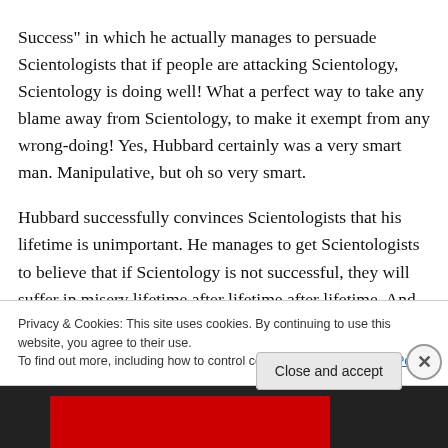Success" in which he actually manages to persuade Scientologists that if people are attacking Scientology, Scientology is doing well! What a perfect way to take any blame away from Scientology, to make it exempt from any wrong-doing! Yes, Hubbard certainly was a very smart man. Manipulative, but oh so very smart.
Hubbard successfully convinces Scientologists that his lifetime is unimportant. He manages to get Scientologists to believe that if Scientology is not successful, they will suffer in misery lifetime after lifetime after lifetime. And
Privacy & Cookies: This site uses cookies. By continuing to use this website, you agree to their use.
To find out more, including how to control cookies, see here: Cookie Policy